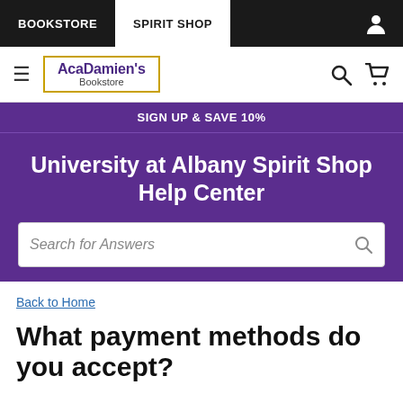BOOKSTORE | SPIRIT SHOP
[Figure (logo): AcaDamien's Bookstore logo with hamburger menu, search icon, and cart icon]
SIGN UP & SAVE 10%
University at Albany Spirit Shop Help Center
Search for Answers
Back to Home
What payment methods do you accept?